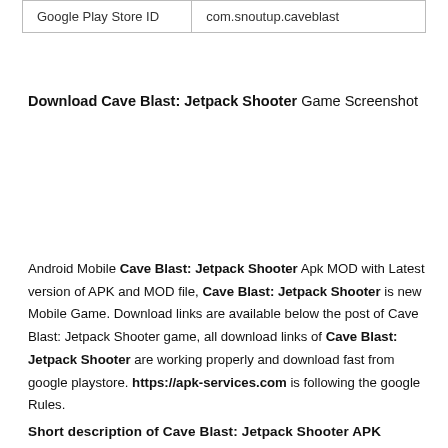| Google Play Store ID | com.snoutup.caveblast |
Download Cave Blast: Jetpack Shooter Game Screenshot
Android Mobile Cave Blast: Jetpack Shooter Apk MOD with Latest version of APK and MOD file, Cave Blast: Jetpack Shooter is new Mobile Game. Download links are available below the post of Cave Blast: Jetpack Shooter game, all download links of Cave Blast: Jetpack Shooter are working properly and download fast from google playstore. https://apk-services.com is following the google Rules.
Short description of Cave Blast: Jetpack Shooter APK